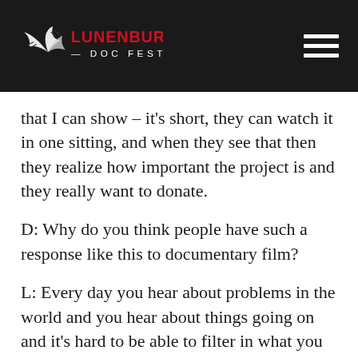LUNENBURG DOC FEST
that I can show – it's short, they can watch it in one sitting, and when they see that then they realize how important the project is and they really want to donate.
D: Why do you think people have such a response like this to documentary film?
L: Every day you hear about problems in the world and you hear about things going on and it's hard to be able to filter in what you actually listen to and what you don't listen to. But when you see a film and you see what it's like over